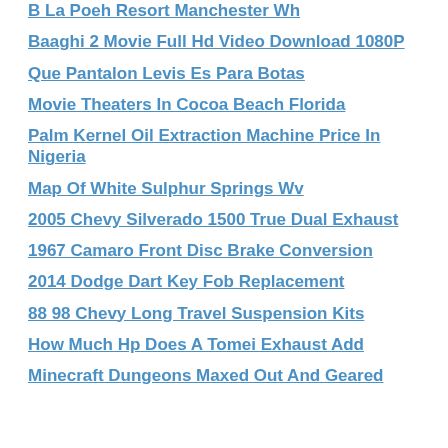B La Poeh Resort Manchester Wh
Baaghi 2 Movie Full Hd Video Download 1080P
Que Pantalon Levis Es Para Botas
Movie Theaters In Cocoa Beach Florida
Palm Kernel Oil Extraction Machine Price In Nigeria
Map Of White Sulphur Springs Wv
2005 Chevy Silverado 1500 True Dual Exhaust
1967 Camaro Front Disc Brake Conversion
2014 Dodge Dart Key Fob Replacement
88 98 Chevy Long Travel Suspension Kits
How Much Hp Does A Tomei Exhaust Add
Minecraft Dungeons Maxed Out And Geared